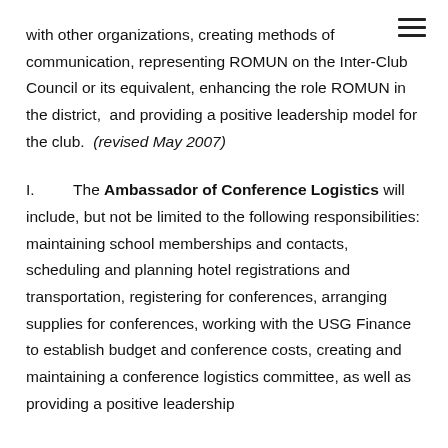with other organizations, creating methods of communication, representing ROMUN on the Inter-Club Council or its equivalent, enhancing the role ROMUN in the district,  and providing a positive leadership model for the club.  (revised May 2007)
I.        The Ambassador of Conference Logistics will include, but not be limited to the following responsibilities: maintaining school memberships and contacts, scheduling and planning hotel registrations and transportation, registering for conferences, arranging supplies for conferences, working with the USG Finance to establish budget and conference costs, creating and maintaining a conference logistics committee, as well as providing a positive leadership